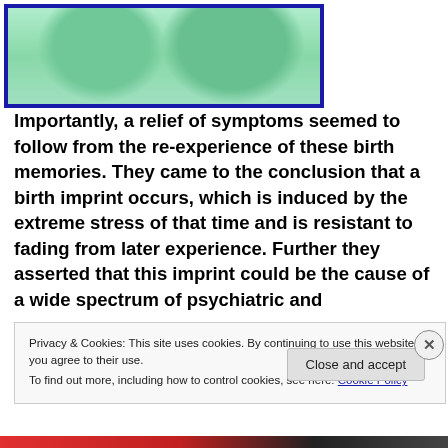[Figure (photo): Close-up green-tinted microscopic or medical image showing two rounded structures side by side, framed with a dark blue border.]
Importantly, a relief of symptoms seemed to follow from the re-experience of these birth memories. They came to the conclusion that a birth imprint occurs, which is induced by the extreme stress of that time and is resistant to fading from later experience. Further they asserted that this imprint could be the cause of a wide spectrum of psychiatric and
Privacy & Cookies: This site uses cookies. By continuing to use this website, you agree to their use.
To find out more, including how to control cookies, see here: Cookie Policy